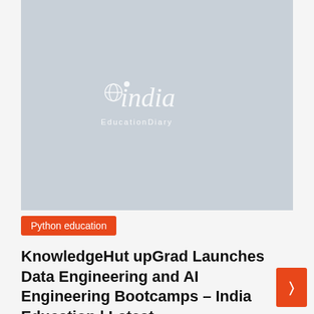[Figure (logo): India EducationDiary logo — white stylized text 'india' with 'EducationDiary' below, on a light blue-grey background placeholder image]
Python education
KnowledgeHut upGrad Launches Data Engineering and AI Engineering Bootcamps – India Education | Latest